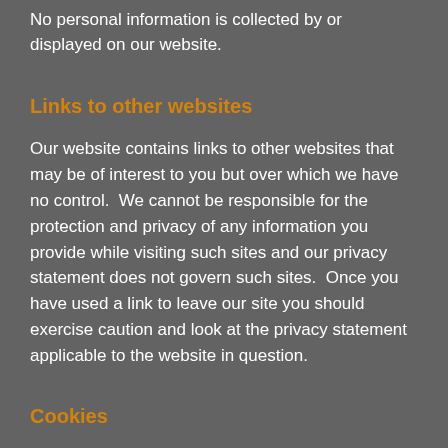No personal information is collected by or displayed on our website.
Links to other websites
Our website contains links to other websites that may be of interest to you but over which we have no control.  We cannot be responsible for the protection and privacy of any information you provide while visiting such sites and our privacy statement does not govern such sites.  Once you have used a link to leave our site you should exercise caution and look at the privacy statement applicable to the website in question.
Cookies